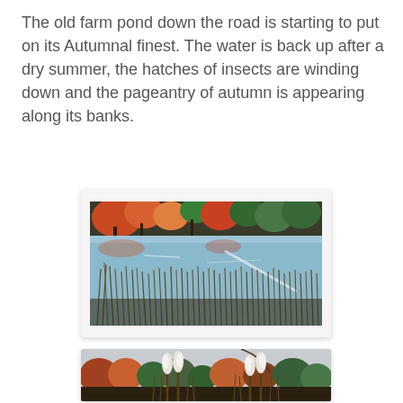The old farm pond down the road is starting to put on its Autumnal finest. The water is back up after a dry summer, the hatches of insects are winding down and the pageantry of autumn is appearing along its banks.
[Figure (photo): Autumn farm pond scene showing still blue water with reflections of colorful fall foliage (orange, red, green trees) along the far bank, with tall brown grasses/reeds in the foreground]
[Figure (photo): Autumn pond scene showing cattails with fluffy white seed heads in the foreground, colorful fall trees in the background, and a fishing rod visible curving in the upper portion of the image]